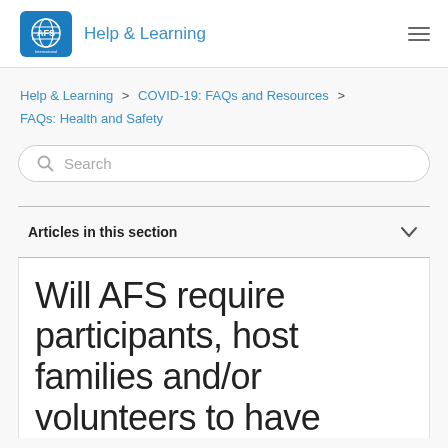AFS International Programs USA — Help & Learning
Help & Learning > COVID-19: FAQs and Resources > FAQs: Health and Safety
Search
Articles in this section
Will AFS require participants, host families and/or volunteers to have